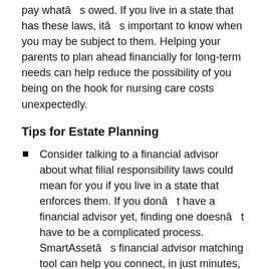your parents' financial bills if they're unable to pay what's owed. If you live in a state that has these laws, it's important to know when you may be subject to them. Helping your parents to plan ahead financially for long-term needs can help reduce the possibility of you being on the hook for nursing care costs unexpectedly.
Tips for Estate Planning
Consider talking to a financial advisor about what filial responsibility laws could mean for you if you live in a state that enforces them. If you don't have a financial advisor yet, finding one doesn't have to be a complicated process. SmartAsset's financial advisor matching tool can help you connect, in just minutes, with professional advisors in your local area. If you're ready, get started now.